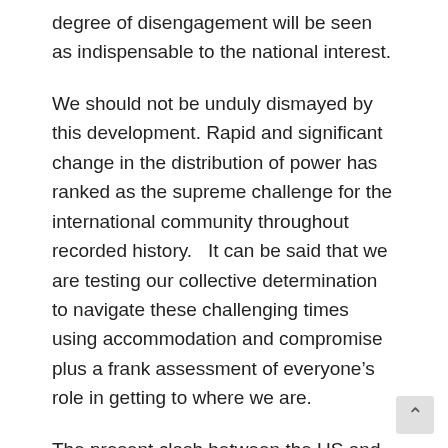degree of disengagement will be seen as indispensable to the national interest.
We should not be unduly dismayed by this development. Rapid and significant change in the distribution of power has ranked as the supreme challenge for the international community throughout recorded history.   It can be said that we are testing our collective determination to navigate these challenging times using accommodation and compromise plus a frank assessment of everyone’s role in getting to where we are.
The present clash between the US and China is arrestingly sharp and deep not only because the stakes are so high and the parties so profoundly different, but also because it has been brewing over several decades of increasingly intimate and complex